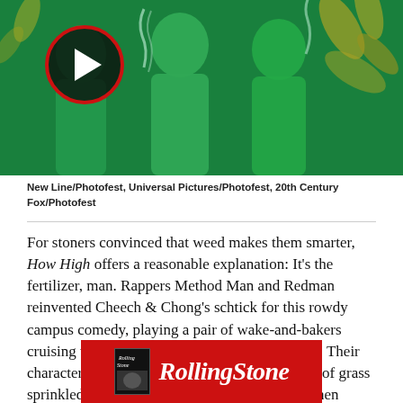[Figure (photo): Green-tinted photo banner of people laughing/celebrating with smoke, play button overlay circle with red border on the left side]
New Line/Photofest, Universal Pictures/Photofest, 20th Century Fox/Photofest
For stoners convinced that weed makes them smarter, How High offers a reasonable explanation: It’s the fertilizer, man. Rappers Method Man and Redman reinvented Cheech & Chong’s schtick for this rowdy campus comedy, playing a pair of wake-and-bakers cruising through their freshman year at Harvard. Their characters — Silas and Jamal — smoke a strain of grass sprinkled with the ashes of a dead friend, who then appears to them as a friendly ghost. (They’re on a very
[Figure (logo): Rolling Stone advertisement banner in red with white Rolling Stone logo text and small magazine cover image]